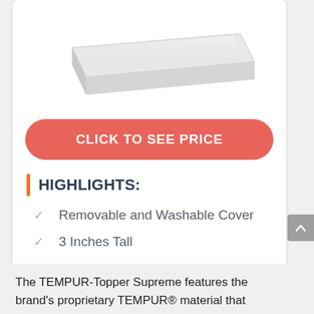[Figure (photo): Product image of a white mattress topper (TEMPUR-Topper Supreme), shown in 3D perspective angle against white background]
CLICK TO SEE PRICE
HIGHLIGHTS:
Removable and Washable Cover
3 Inches Tall
Six Sizes Available
The TEMPUR-Topper Supreme features the brand's proprietary TEMPUR® material that